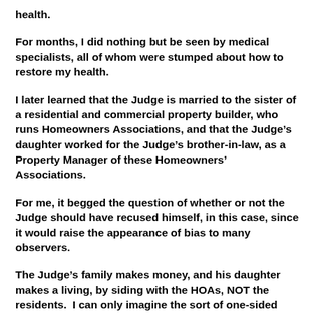health.
For months, I did nothing but be seen by medical specialists, all of whom were stumped about how to restore my health.
I later learned that the Judge is married to the sister of a residential and commercial property builder, who runs Homeowners Associations, and that the Judge’s daughter worked for the Judge’s brother-in-law, as a Property Manager of these Homeowners’ Associations.
For me, it begged the question of whether or not the Judge should have recused himself, in this case, since it would raise the appearance of bias to many observers.
The Judge’s family makes money, and his daughter makes a living, by siding with the HOAs, NOT the residents.  I can only imagine the sort of one-sided conversation that takes place around that dinner table, when they get together.  I